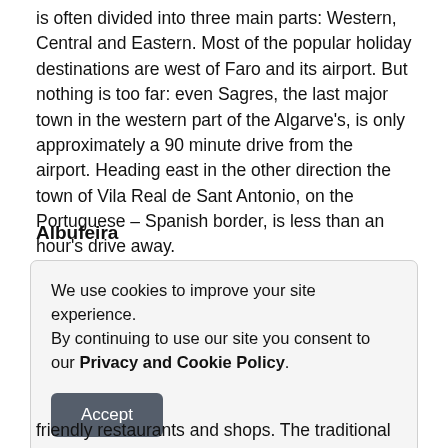is often divided into three main parts: Western, Central and Eastern. Most of the popular holiday destinations are west of Faro and its airport. But nothing is too far: even Sagres, the last major town in the western part of the Algarve's, is only approximately a 90 minute drive from the airport. Heading east in the other direction the town of Vila Real de Sant Antonio, on the Portuguese – Spanish border, is less than an hour's drive away.
Albufeira
We use cookies to improve your site experience.
By continuing to use our site you consent to our Privacy and Cookie Policy.
friendly restaurants and shops. The traditional